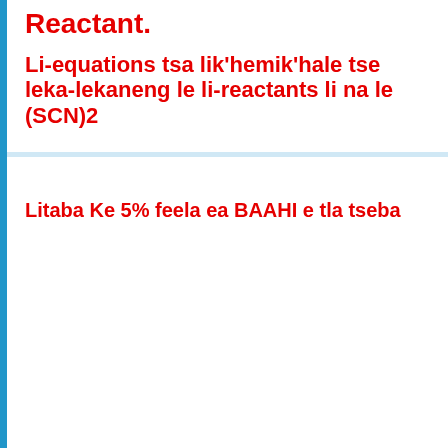Reactant.
Li-equations tsa lik'hemik'hale tse leka-lekaneng le li-reactants li na le (SCN)2
Litaba Ke 5% feela ea BAAHI e tla tseba